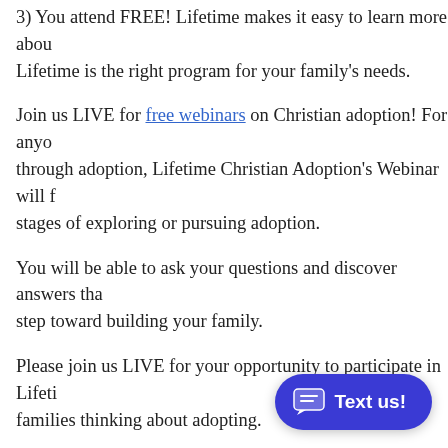3) You attend FREE! Lifetime makes it easy to learn more about whether Lifetime is the right program for your family's needs.
Join us LIVE for free webinars on Christian adoption! For anyone going through adoption, Lifetime Christian Adoption's Webinar will for stages of exploring or pursuing adoption.
You will be able to ask your questions and discover answers that step toward building your family.
Please join us LIVE for your opportunity to participate in Lifetime families thinking about adopting.
When you register for webinars you'll receive an email with the to join us live.
You may attend by PHONE or ONLINE from your iPhone or Droid download a free web out if charges may apply to attend from your cell phone using the